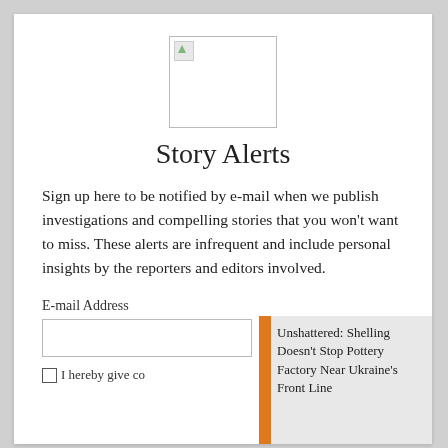[Figure (logo): Logo placeholder image with small green triangle icon in top-left of bordered white box]
Story Alerts
Sign up here to be notified by e-mail when we publish investigations and compelling stories that you won't want to miss. These alerts are infrequent and include personal insights by the reporters and editors involved.
E-mail Address
[Figure (screenshot): Orange submit button with right arrow, video thumbnail block, story image placeholder, and story title 'Unshattered: Shelling Doesn't Stop Pottery Factory Near Ukraine's Front Line']
I hereby give co